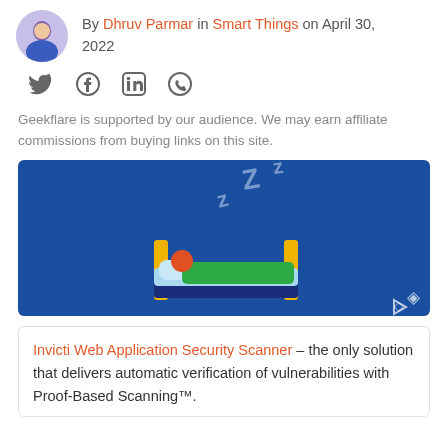By Dhruv Parmar in Smart Things on April 30, 2022
[Figure (illustration): Social share icons: Twitter, Facebook, LinkedIn, WhatsApp]
Geekflare is supported by our audience. We may earn affiliate commissions from buying links on this site.
[Figure (illustration): Illustration of a person sleeping in a bed with ZZZ sleep icons on a blue background, with a Geekflare logo in the corner]
Invicti Web Application Security Scanner – the only solution that delivers automatic verification of vulnerabilities with Proof-Based Scanning™.